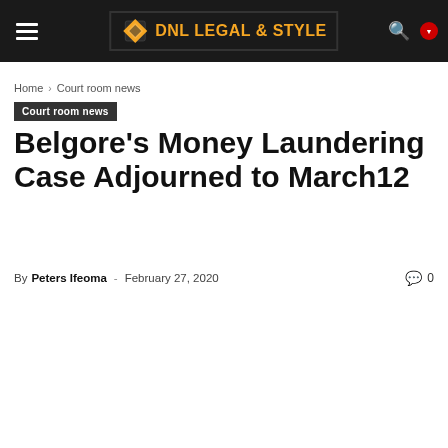[Figure (logo): DNL Legal & Style website header with navigation bar containing hamburger menu, DNL Legal & Style logo with orange diamond, search icon, and red dropdown button]
Home › Court room news
Court room news
Belgore's Money Laundering Case Adjourned to March12
By Peters Ifeoma - February 27, 2020  0